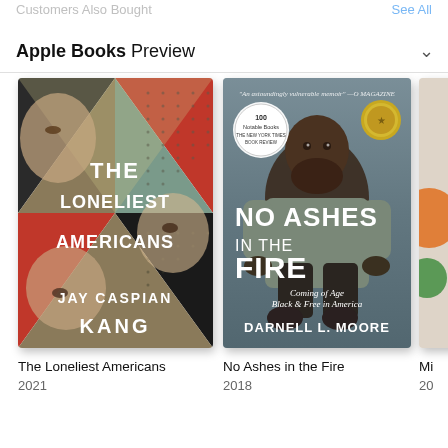Customers Also Bought   See All
Apple Books Preview
[Figure (illustration): Book cover: The Loneliest Americans by Jay Caspian Kang, 2021. Geometric triangular design with faces of Asian people, colors of black, red, olive/tan.]
The Loneliest Americans
2021
[Figure (illustration): Book cover: No Ashes in the Fire by Darnell L. Moore, 2018. Photo of a Black man seated, with badges including 100 Notable Books NYT Book Review. Subtitle: Coming of Age Black & Free in America.]
No Ashes in the Fire
2018
[Figure (illustration): Partially visible third book cover, cropped at right edge.]
Mi
20